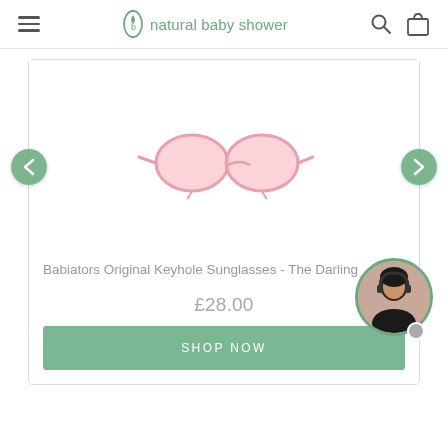natural baby shower
[Figure (photo): Pink Babiators Original Keyhole Sunglasses product photo on white background]
Babiators Original Keyhole Sunglasses - The Darling
£28.00
SHOP NOW
[Figure (photo): Customer support chat widget showing a woman wearing a headset]